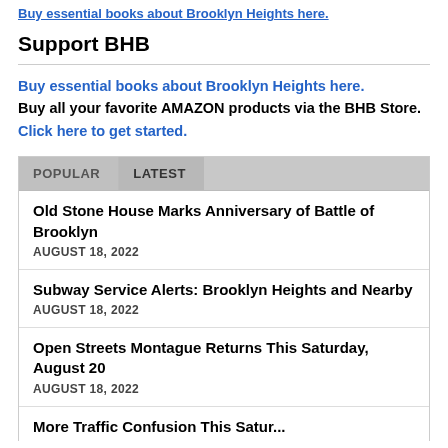Buy essential books about Brooklyn Heights here.
Support BHB
Buy essential books about Brooklyn Heights here. Buy all your favorite AMAZON products via the BHB Store. Click here to get started.
Old Stone House Marks Anniversary of Battle of Brooklyn
AUGUST 18, 2022
Subway Service Alerts: Brooklyn Heights and Nearby
AUGUST 18, 2022
Open Streets Montague Returns This Saturday, August 20
AUGUST 18, 2022
More Traffic Confusion This Satur...